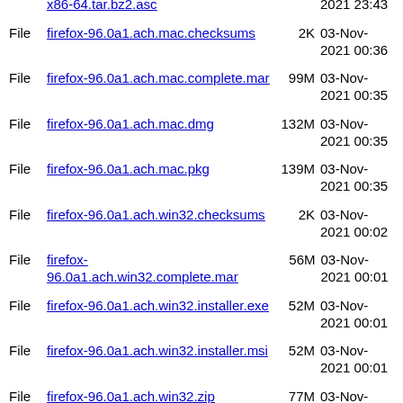File x86-64.tar.bz2.asc — 2021 23:43
File firefox-96.0a1.ach.mac.checksums 2K 03-Nov-2021 00:36
File firefox-96.0a1.ach.mac.complete.mar 99M 03-Nov-2021 00:35
File firefox-96.0a1.ach.mac.dmg 132M 03-Nov-2021 00:35
File firefox-96.0a1.ach.mac.pkg 139M 03-Nov-2021 00:35
File firefox-96.0a1.ach.win32.checksums 2K 03-Nov-2021 00:02
File firefox-96.0a1.ach.win32.complete.mar 56M 03-Nov-2021 00:01
File firefox-96.0a1.ach.win32.installer.exe 52M 03-Nov-2021 00:01
File firefox-96.0a1.ach.win32.installer.msi 52M 03-Nov-2021 00:01
File firefox-96.0a1.ach.win32.zip 77M 03-Nov-2021 00:01
File firefox-96.0a1.ach.win64-aarch64.checksums 2K 03-Nov-2021 00:24
File firefox-96.0a1.ach.win64-aarch64.complete.mar 86M 03-Nov-2021 00:24